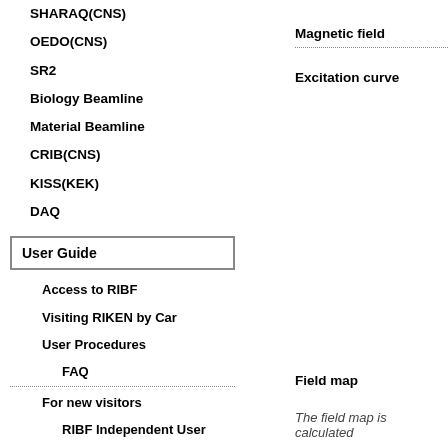SHARAQ(CNS)
OEDO(CNS)
SR2
Biology Beamline
Material Beamline
CRIB(CNS)
KISS(KEK)
DAQ
User Guide
Access to RIBF
Visiting RIKEN by Car
User Procedures
FAQ
For new visitors
RIBF Independent User
Visiting Scientist
Magnetic field
Excitation curve
Field map
The field map is calculated